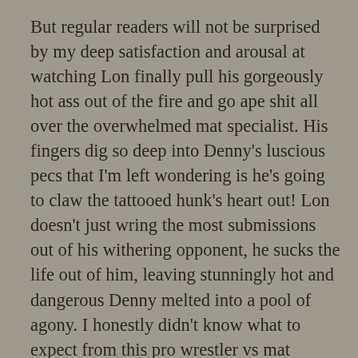But regular readers will not be surprised by my deep satisfaction and arousal at watching Lon finally pull his gorgeously hot ass out of the fire and go ape shit all over the overwhelmed mat specialist. His fingers dig so deep into Denny's luscious pecs that I'm left wondering is he's going to claw the tattooed hunk's heart out! Lon doesn't just wring the most submissions out of his withering opponent, he sucks the life out of him, leaving stunningly hot and dangerous Denny melted into a pool of agony. I honestly didn't know what to expect from this pro wrestler vs mat specialist on the mat match, but I didn't expect the way Lon owns the Gazebo and stunningly weaves every natural strength he has into this novel setting. The attitudes are intense. After stunningly hot silence early on, the trash talk finally starts to pick up, including Denny getting